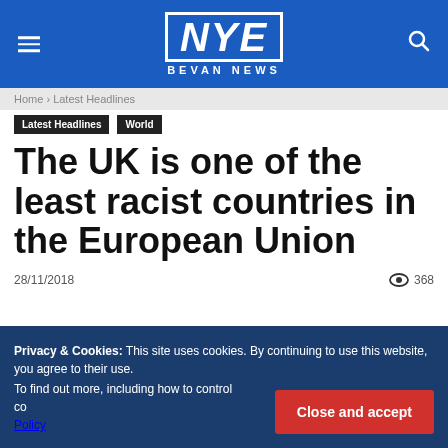NYE BEVAN NEWS
Home › Latest Headlines
Latest Headlines
World
The UK is one of the least racist countries in the European Union
28/11/2018  👁 368
Privacy & Cookies: This site uses cookies. By continuing to use this website, you agree to their use. To find out more, including how to control cookies, see here: Cookie Policy Close and accept